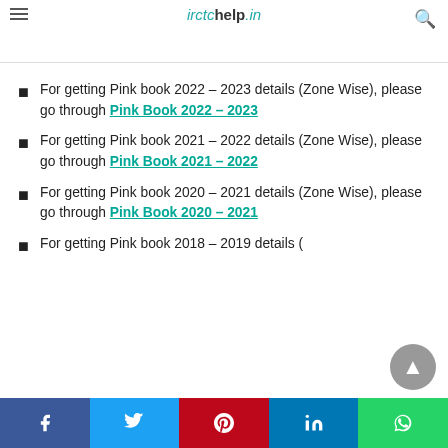irctchelp.in
the projects was only allowed after the detailed estimate was sanctioned.
For getting Pink book 2022 – 2023 details (Zone Wise), please go through Pink Book 2022 – 2023
For getting Pink book 2021 – 2022 details (Zone Wise), please go through Pink Book 2021 – 2022
For getting Pink book 2020 – 2021 details (Zone Wise), please go through Pink Book 2020 – 2021
For getting Pink book 2018 – 2019 details (Zone Wise)...
Facebook Twitter Pinterest LinkedIn WhatsApp